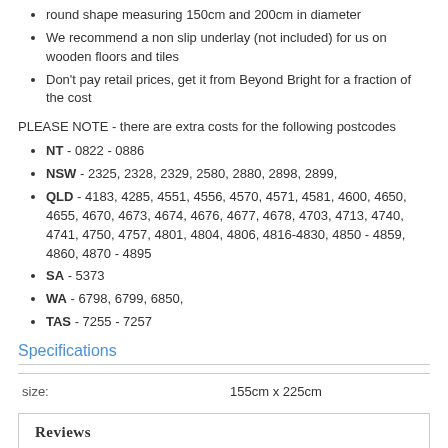round shape measuring 150cm and 200cm in diameter
We recommend a non slip underlay (not included) for us on wooden floors and tiles
Don't pay retail prices, get it from Beyond Bright for a fraction of the cost
PLEASE NOTE - there are extra costs for the following postcodes
NT - 0822 - 0886
NSW - 2325, 2328, 2329, 2580, 2880, 2898, 2899,
QLD - 4183, 4285, 4551, 4556, 4570, 4571, 4581, 4600, 4650, 4655, 4670, 4673, 4674, 4676, 4677, 4678, 4703, 4713, 4740, 4741, 4750, 4757, 4801, 4804, 4806, 4816-4830, 4850 - 4859, 4860, 4870 - 4895
SA - 5373
WA - 6798, 6799, 6850,
TAS - 7255 - 7257
Specifications
| size: |  |
| --- | --- |
| size: | 155cm x 225cm |
Reviews
Shipping and Returns